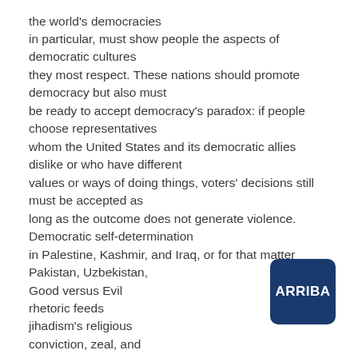the world's democracies in particular, must show people the aspects of democratic cultures they most respect. These nations should promote democracy but also must be ready to accept democracy's paradox: if people choose representatives whom the United States and its democratic allies dislike or who have different values or ways of doing things, voters' decisions still must be accepted as long as the outcome does not generate violence. Democratic self-determination in Palestine, Kashmir, and Iraq, or for that matter Pakistan, Uzbekistan, Good versus Evil rhetoric feeds jihadism's religious conviction, zeal, and
[Figure (logo): Dark blue rounded square logo with white text reading ARRIBA]